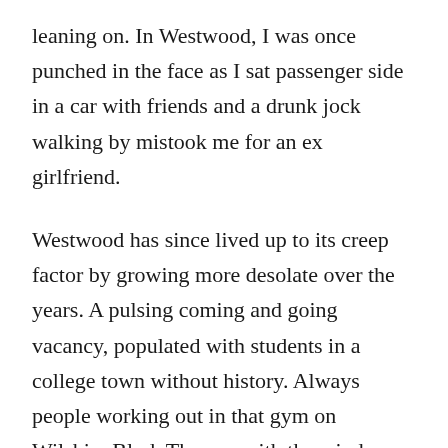leaning on. In Westwood, I was once punched in the face as I sat passenger side in a car with friends and a drunk jock walking by mistook me for an ex girlfriend.
Westwood has since lived up to its creep factor by growing more desolate over the years. A pulsing coming and going vacancy, populated with students in a college town without history. Always people working out in that gym on Wilshire Blvd. The one with the windows that face the street. Feels like the same people have been running on that treadmill since 1983.
But I didn't know then that within Westwood was Persian Square, aka Little Persia, aka Tehrangeles.